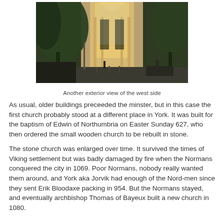[Figure (photo): Exterior view of a Gothic cathedral (York Minster) west side, with trees in foreground and dramatic lighting illuminating the stone facade and arches.]
Another exterior view of the west side
As usual, older buildings preceeded the minster, but in this case the first church probably stood at a different place in York. It was built for the baptism of Edwin of Northumbria on Easter Sunday 627, who then ordered the small wooden church to be rebuilt in stone.
The stone church was enlarged over time. It survived the times of Viking settlement but was badly damaged by fire when the Normans conquered the city in 1069. Poor Normans, nobody really wanted them around, and York aka Jorvik had enough of the Nord-men since they sent Erik Bloodaxe packing in 954. But the Normans stayed, and eventually archbishop Thomas of Bayeux built a new church in 1080.